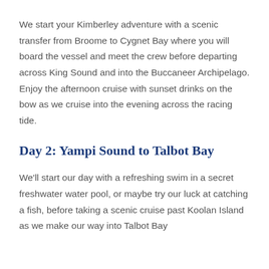We start your Kimberley adventure with a scenic transfer from Broome to Cygnet Bay where you will board the vessel and meet the crew before departing across King Sound and into the Buccaneer Archipelago. Enjoy the afternoon cruise with sunset drinks on the bow as we cruise into the evening across the racing tide.
Day 2: Yampi Sound to Talbot Bay
We'll start our day with a refreshing swim in a secret freshwater water pool, or maybe try our luck at catching a fish, before taking a scenic cruise past Koolan Island as we make our way into Talbot Bay